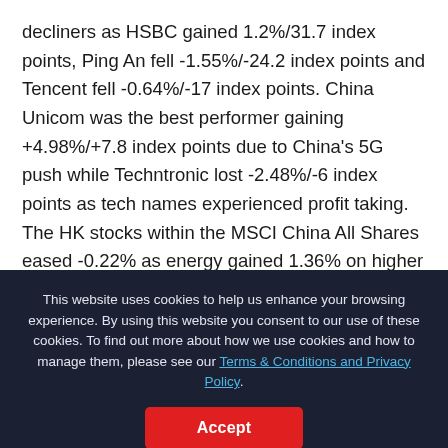decliners as HSBC gained 1.2%/31.7 index points, Ping An fell -1.55%/-24.2 index points and Tencent fell -0.64%/-17 index points. China Unicom was the best performer gaining +4.98%/+7.8 index points due to China's 5G push while Techntronic lost -2.48%/-6 index points as tech names experienced profit taking. The HK stocks within the MSCI China All Shares eased -0.22% as energy gained 1.36% on higher oil prices, materials +0.78%, and real
This website uses cookies to help us enhance your browsing experience. By using this website you consent to our use of these cookies. To find out more about how we use cookies and how to manage them, please see our Terms & Conditions and Privacy Policy.